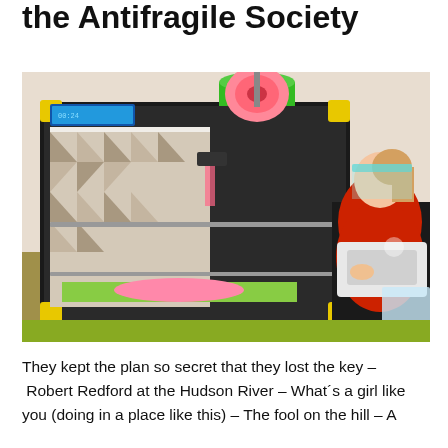the Antifragile Society
[Figure (photo): A yellow and black 3D printer printing a pink object in the foreground, with a woman in a red hoodie and a clear face shield working at a sewing machine in the background.]
They kept the plan so secret that they lost the key – Robert Redford at the Hudson River – What´s a girl like you (doing in a place like this) – The fool on the hill – A